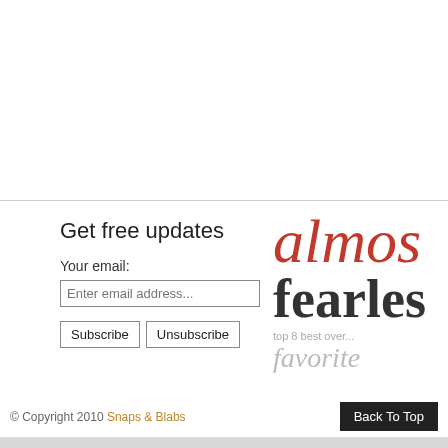Get free updates
Your email:
Enter email address...
Subscribe  Unsubscribe
[Figure (logo): Almost Fearless blog logo with red italic 'almos' text, bold 'fearles' text, tagline 'top 8 best over... favorite']
© Copyright 2010 Snaps & Blabs    Back To Top